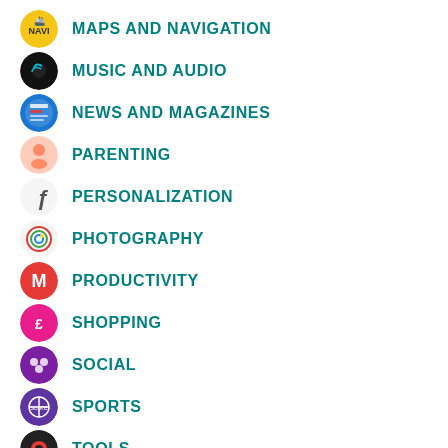MAPS AND NAVIGATION
MUSIC AND AUDIO
NEWS AND MAGAZINES
PARENTING
PERSONALIZATION
PHOTOGRAPHY
PRODUCTIVITY
SHOPPING
SOCIAL
SPORTS
TOOLS
TRAVEL AND LOCAL
VIDEO PLAYERS